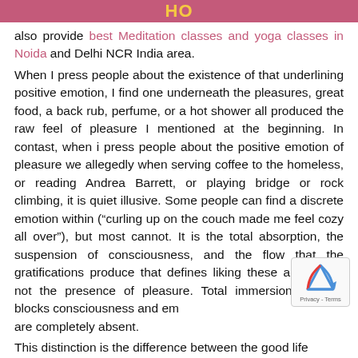HO
also provide best Meditation classes and yoga classes in Noida and Delhi NCR India area. When I press people about the existence of that underlining positive emotion, I find one underneath the pleasures, great food, a back rub, perfume, or a hot shower all produced the raw feel of pleasure I mentioned at the beginning. In contast, when i press people about the positive emotion of pleasure we allegedly when serving coffee to the homeless, or reading Andrea Barrett, or playing bridge or rock climbing, it is quiet illusive. Some people can find a discrete emotion within (“curling up on the couch made me feel cozy all over”), but most cannot. It is the total absorption, the suspension of consciousness, and the flow that the gratifications produce that defines liking these activities – not the presence of pleasure. Total immersion, impact, blocks consciousness and emotions are completely absent. This distinction is the difference between the good life